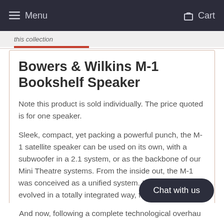Menu  Cart
this collection
Bowers & Wilkins M-1 Bookshelf Speaker
Note this product is sold individually. The price quoted is for one speaker.
Sleek, compact, yet packing a powerful punch, the M-1 satellite speaker can be used on its own, with a subwoofer in a 2.1 system, or as the backbone of our Mini Theatre systems. From the inside out, the M-1 was conceived as a unified system. Its design has evolved in a totally integrated way, from the custom crossover to the two-piece clamshel
And now, following a complete technological overhau